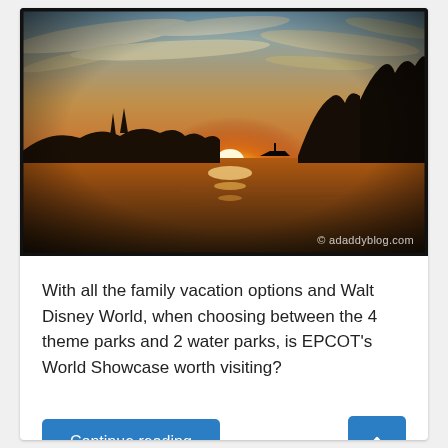[Figure (photo): Sunset over a lake at Walt Disney World / EPCOT area, with silhouette of trees and landscape against an orange and golden sky with scattered clouds. Watermark reads '© adaddyblog.com'.]
With all the family vacation options and Walt Disney World, when choosing between the 4 theme parks and 2 water parks, is EPCOT's World Showcase worth visiting?
Continue reading